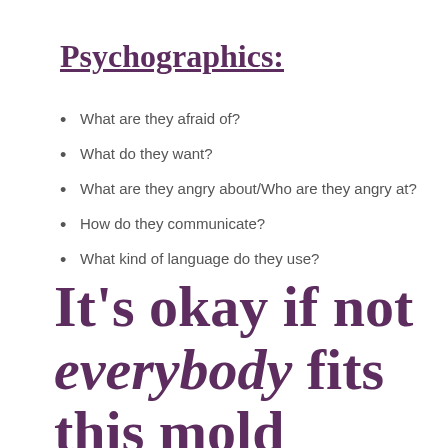Psychographics:
What are they afraid of?
What do they want?
What are they angry about/Who are they angry at?
How do they communicate?
What kind of language do they use?
It’s okay if not everybody fits this mold perfectly… this is the ideal